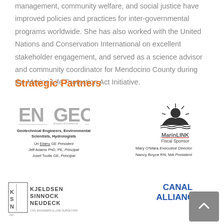management, community welfare, and social justice have improved policies and practices for inter-governmental programs worldwide. She has also worked with the United Nations and Conservation International on excellent stakeholder engagement, and served as a science advisor and community coordinator for Mendocino County during the Marine Life Protection Act Initiative.
Strategic Partners
[Figure (logo): ENGEO logo with tagline 'Expect Excellence', description 'Geotechnical Engineers, Environmental Scientists, Hydrologists', and personnel: Uri Eliahu GE President, Jeff Adams PhD, PE, Principal, Josef Tootle GE, Principal]
[Figure (logo): MarinLINK logo with sun/mountain SVG icon, 'Fiscal Sponsor', personnel: Mary O'Mara Executive Director, Nancy Boyce RN, MA President]
[Figure (logo): Kjeldsen Sinnock Neudeck Inc. logo - Civil Engineers & Land Surveyors]
[Figure (logo): Canal Alliance logo in blue text]